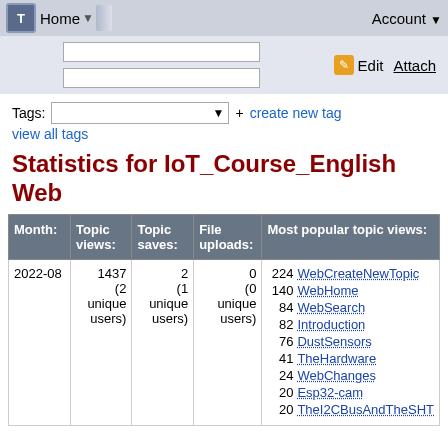Home | Account
Statistics for IoT_Course_English Web
Tags: [dropdown] + create new tag
view all tags
| Month: | Topic views: | Topic saves: | File uploads: | Most popular topic views: |
| --- | --- | --- | --- | --- |
| 2022-08 | 1437 (2 unique users) | 2 (1 unique users) | 0 (0 unique users) | 224 WebCreateNewTopic
140 WebHome
84 WebSearch
82 Introduction
76 DustSensors
41 TheHardware
24 WebChanges
20 Esp32-cam
20 TheI2CBusAndTheSHT |